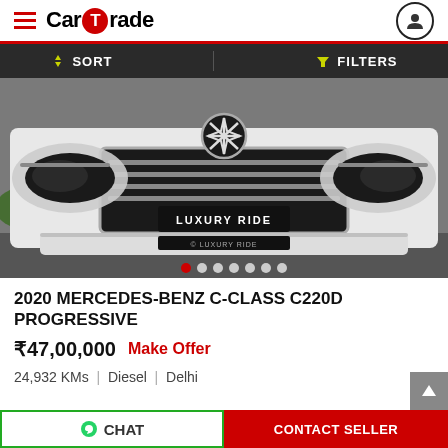CarTrade
SORT   FILTERS
[Figure (photo): Front view of a white Mercedes-Benz C-Class with LUXURY RIDE license plate, image carousel with 7 dots]
2020 MERCEDES-BENZ C-CLASS C220D PROGRESSIVE
₹47,00,000  Make Offer
24,932 KMs  |  Diesel  |  Delhi